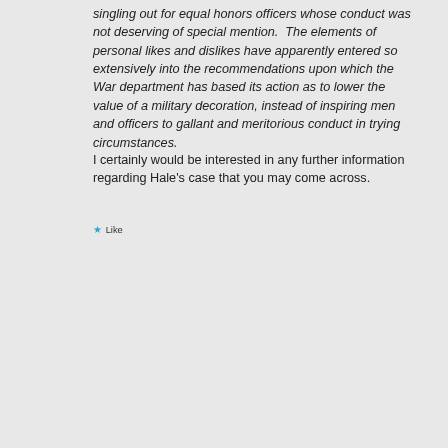singling out for equal honors officers whose conduct was not deserving of special mention.  The elements of personal likes and dislikes have apparently entered so extensively into the recommendations upon which the War department has based its action as to lower the value of a military decoration, instead of inspiring men and officers to gallant and meritorious conduct in trying circumstances.
I certainly would be interested in any further information regarding Hale's case that you may come across.
★ Like